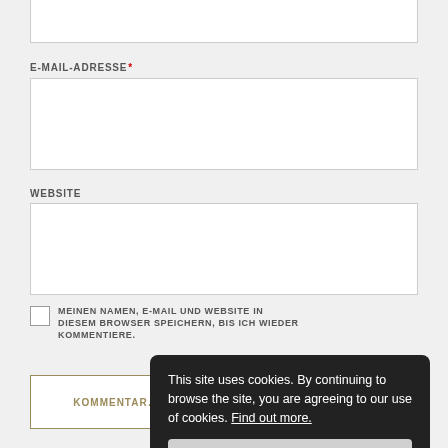[Figure (screenshot): Top portion of a web form input field (partially visible at the top of the page)]
E-MAIL-ADRESSE *
[Figure (screenshot): Email address input field (empty text box)]
WEBSITE
[Figure (screenshot): Website input field (empty text box)]
MEINEN NAMEN, E-MAIL UND WEBSITE IN DIESEM BROWSER SPEICHERN, BIS ICH WIEDER KOMMENTIERE.
[Figure (screenshot): Kommentar abschicken button (partially visible)]
This site uses cookies. By continuing to browse the site, you are agreeing to our use of cookies. Find out more.
Accept